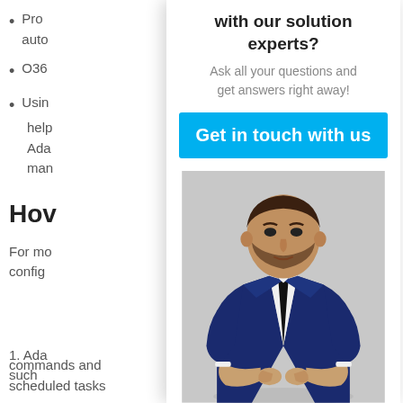Pro… auto…
O36…
Usin… help… Ada… man…
Hov…
For mo… config…
1. Ada… such…
commands and scheduled tasks
with our solution experts?
Ask all your questions and get answers right away!
Get in touch with us
[Figure (photo): A man in a navy blue suit with a black tie, buttoning his jacket, gray background.]